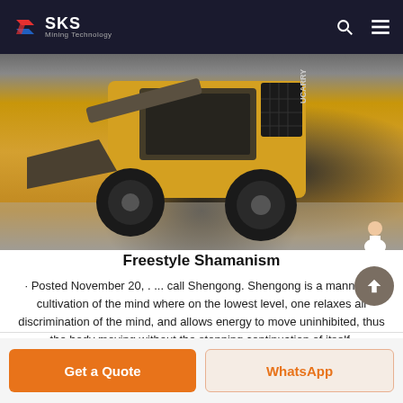SKS Mining Technology
[Figure (photo): Yellow skid steer loader (UCARRY brand) with a front bucket attachment photographed outdoors on concrete, with a 'Free chat' button overlay on the right side featuring a customer service avatar.]
Freestyle Shamanism
· Posted November 20, . ... call Shengong. Shengong is a manner of cultivation of the mind where on the lowest level, one relaxes all discrimination of the mind, and allows energy to move uninhibited, thus the body moving without the stopping continuation of itself.
Get a Quote  WhatsApp